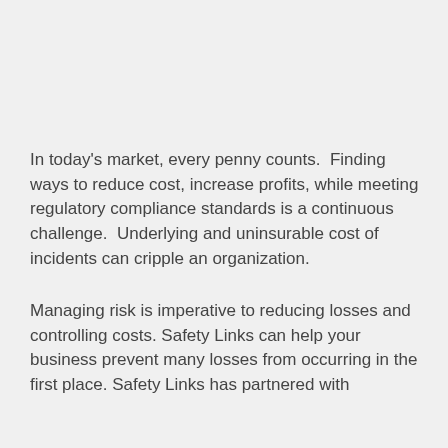In today's market, every penny counts.  Finding ways to reduce cost, increase profits, while meeting regulatory compliance standards is a continuous challenge.  Underlying and uninsurable cost of incidents can cripple an organization.
Managing risk is imperative to reducing losses and controlling costs. Safety Links can help your business prevent many losses from occurring in the first place. Safety Links has partnered with